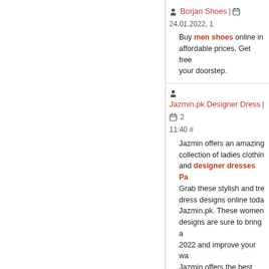Borjan Shoes | 24.01.2022, 1...
Buy men shoes online in... affordable prices. Get free... your doorstep.
Jazmin.pk Designer Dress | 2... 11:40 #
Jazmin offers an amazing collection of ladies clothing and designer dresses Pa... Grab these stylish and tre... dress designs online toda... Jazmin.pk. These women designs are sure to bring a 2022 and improve your wa... Jazmin offers the best des... dresses in their Winter co...
jenniferpual | 18.05.2022, 12...
Very nice article, I enjoyed your post, very nice share twit this to my followers. Thanks!.Supreme Scarfac...